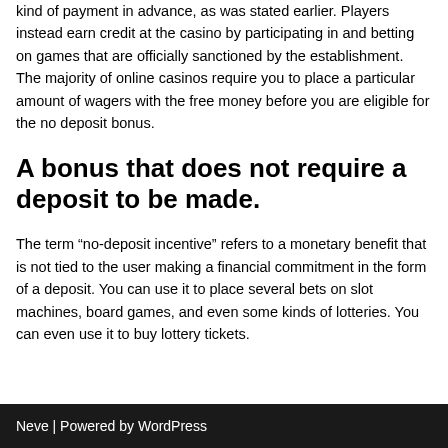kind of payment in advance, as was stated earlier. Players instead earn credit at the casino by participating in and betting on games that are officially sanctioned by the establishment. The majority of online casinos require you to place a particular amount of wagers with the free money before you are eligible for the no deposit bonus.
A bonus that does not require a deposit to be made.
The term “no-deposit incentive” refers to a monetary benefit that is not tied to the user making a financial commitment in the form of a deposit. You can use it to place several bets on slot machines, board games, and even some kinds of lotteries. You can even use it to buy lottery tickets.
Neve | Powered by WordPress